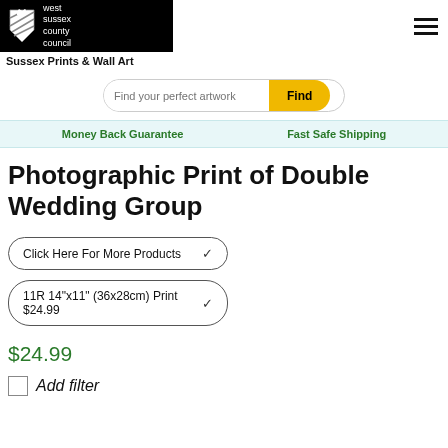[Figure (logo): West Sussex County Council logo with white shield icon and text on black background]
Sussex Prints & Wall Art
[Figure (other): Search bar with placeholder 'Find your perfect artwork' and yellow 'Find' button]
Money Back Guarantee    Fast Safe Shipping
Photographic Print of Double Wedding Group
Click Here For More Products
11R 14"x11" (36x28cm) Print $24.99
$24.99
Add filter